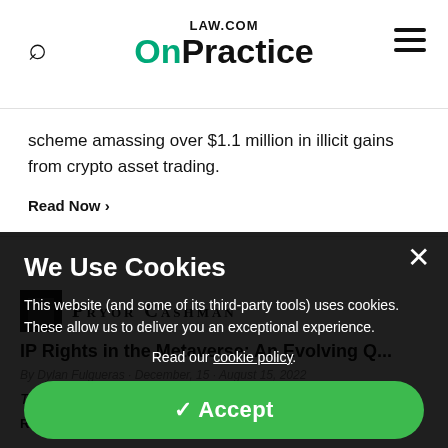LAW.COM OnPractice
scheme amassing over $1.1 million in illicit gains from crypto asset trading.
Read Now ›
[Figure (logo): Pryor Cashman law firm logo with dark square icon and serif uppercase firm name]
IP Rights in the Metaverse: An Evolving Q...
By Dylan Fulgueras · December, 15 · August 15, 2022
Today, all eyes are on the metaverse as the legal questions...
Read Now ›
We Use Cookies
This website (and some of its third-party tools) uses cookies. These allow us to deliver you an exceptional experience.
Read our cookie policy.
✓ Accept